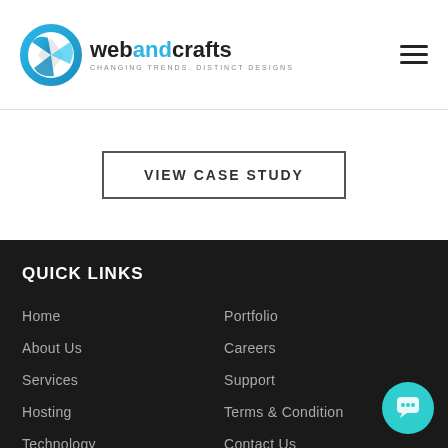[Figure (logo): webandcrafts logo with blue circular icon and tagline CHANGING TRENDS. DISTINCT DESIGNS]
VIEW CASE STUDY
QUICK LINKS
Home
Portfolio
About Us
Careers
Services
Support
Hosting
Terms & Condition
Technology
Contact Us